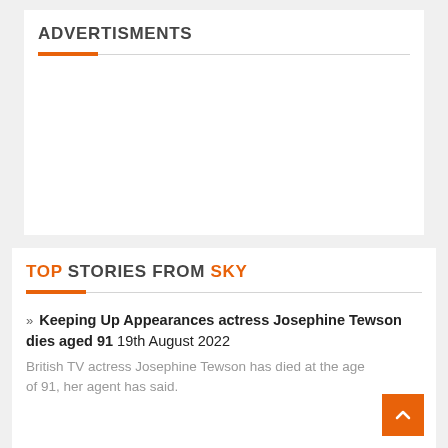ADVERTISMENTS
TOP STORIES FROM SKY
» Keeping Up Appearances actress Josephine Tewson dies aged 91 19th August 2022
British TV actress Josephine Tewson has died at the age of 91, her agent has said.